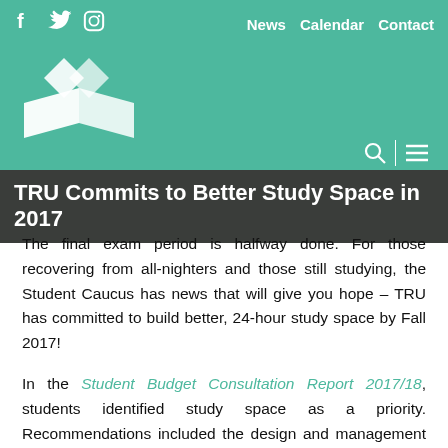f  Twitter  Instagram  |  News  Calendar  Contact
[Figure (logo): TRU Student Caucus logo - white diamond/book shape on teal background]
TRU Commits to Better Study Space in 2017
The final exam period is halfway done. For those recovering from all-nighters and those still studying, the Student Caucus has news that will give you hope – TRU has committed to build better, 24-hour study space by Fall 2017!
In the Student Budget Consultation Report 2017/18, students identified study space as a priority. Recommendations included the design and management of more effective (quiet!) study spaces, longer study space hours, and better 24-hour services. The university is developing a proposal for the House of Learning that may provide a solution to all three.
“It is exciting to see bold commitments from TRU to improve study space,” said Mwansa Kaunda, Student Caucus Chair, “Outside of the classroom, these spaces are the most